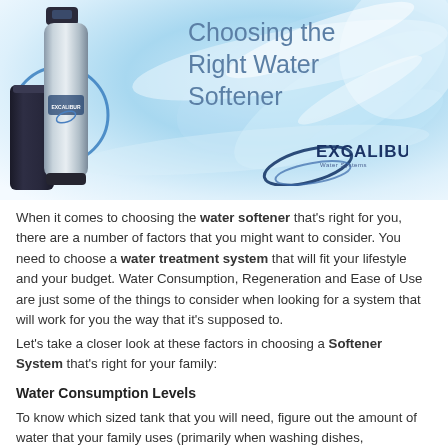[Figure (photo): Excalibur water softener unit on the left with a blue circle highlight, and a water swirl background with Excalibur logo on the right. Title text 'Choosing the Right Water Softener' overlays the image.]
Choosing the Right Water Softener
When it comes to choosing the water softener that's right for you, there are a number of factors that you might want to consider. You need to choose a water treatment system that will fit your lifestyle and your budget. Water Consumption, Regeneration and Ease of Use are just some of the things to consider when looking for a system that will work for you the way that it's supposed to.
Let’s take a closer look at these factors in choosing a Softener System that’s right for your family:
Water Consumption Levels
To know which sized tank that you will need, figure out the amount of water that your family uses (primarily when washing dishes,